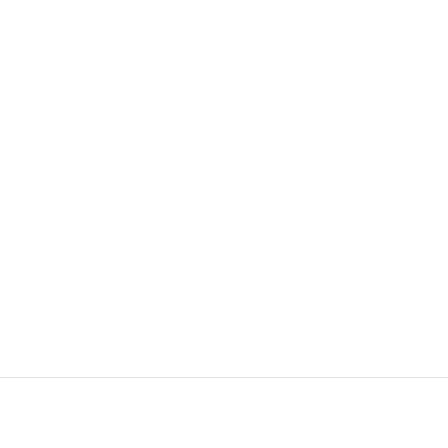Read our September 2022 Digital Issue!